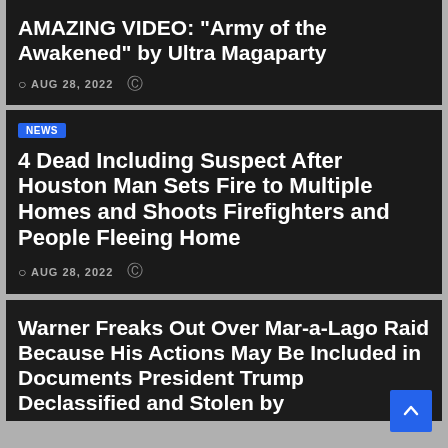AMAZING VIDEO: "Army of the Awakened" by Ultra Magaparty
AUG 28, 2022
NEWS
4 Dead Including Suspect After Houston Man Sets Fire to Multiple Homes and Shoots Firefighters and People Fleeing Home
AUG 28, 2022
Warner Freaks Out Over Mar-a-Lago Raid Because His Actions May Be Included in Documents President Trump Declassified and Stolen by